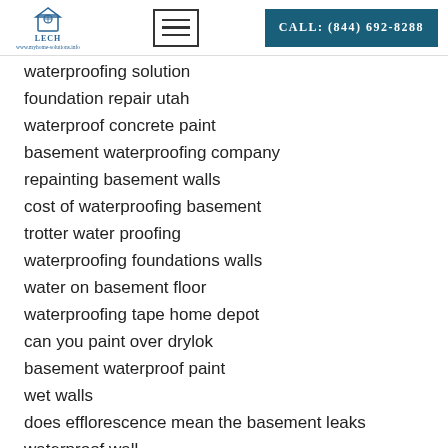LECH | CALL: (844) 692-8288
waterproofing solution
foundation repair utah
waterproof concrete paint
basement waterproofing company
repainting basement walls
cost of waterproofing basement
trotter water proofing
waterproofing foundations walls
water on basement floor
waterproofing tape home depot
can you paint over drylok
basement waterproof paint
wet walls
does efflorescence mean the basement leaks
waterproof wall